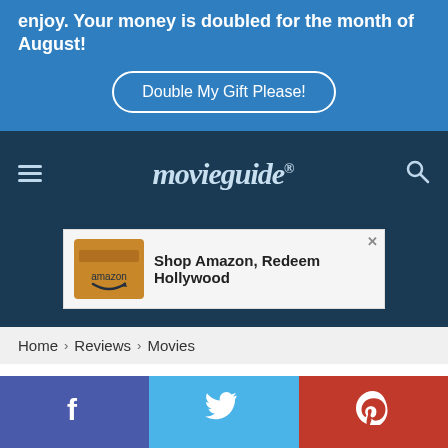enjoy. Your money is doubled for the month of August!
Double My Gift Please!
[Figure (logo): Movieguide logo in stylized italic serif font on dark navy background with hamburger menu icon and search icon]
[Figure (screenshot): Advertisement: Amazon box image with text 'Shop Amazon, Redeem Hollywood']
Home > Reviews > Movies
KAIBIGAN
[Figure (infographic): Social share bar with Facebook, Twitter, and Pinterest icons]